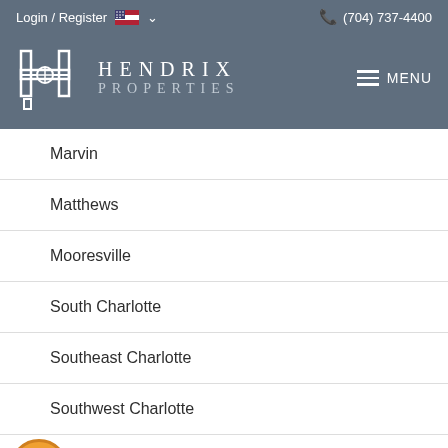Login / Register  (704) 737-4400
HENDRIX PROPERTIES
Marvin
Matthews
Mooresville
South Charlotte
Southeast Charlotte
Southwest Charlotte
Waxhaw
And More...